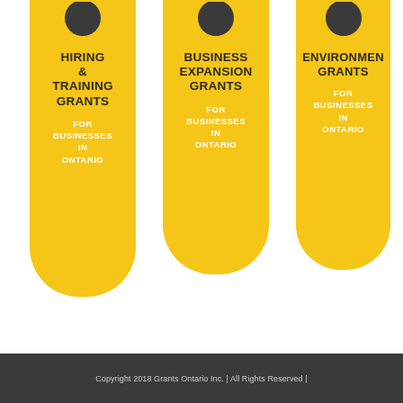[Figure (infographic): Three yellow rounded bookmark/card shapes with dark circular icons at top. Card 1: HIRING & TRAINING GRANTS, FOR BUSINESSES IN ONTARIO. Card 2: BUSINESS EXPANSION GRANTS, FOR BUSINESSES IN ONTARIO. Card 3: ENVIRONMENTAL GRANTS (partially visible), FOR BUSINESSES IN ONTARIO.]
Copyright 2018 Grants Ontario Inc. | All Rights Reserved |